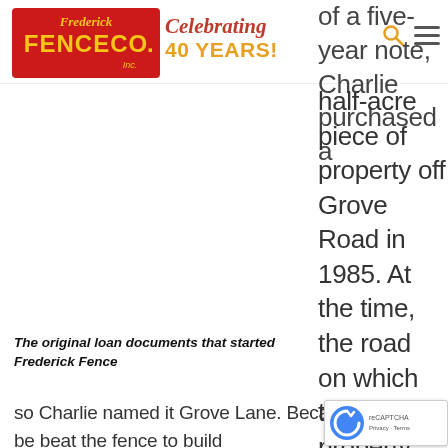[Figure (logo): Frederick Fence Co. Inc. logo - red background with yellow text, with 'Frederick' in script above 'FENCECO.' in bold block letters, 'Inc.' in small text at bottom right]
Celebrating 40 YEARS!
of a five-year note, Charlie purchased a half-acre piece of property off Grove Road in 1985. At the time, the road on which the property sat had no
The original loan documents that started Frederick Fence
so Charlie named it Grove Lane. Because h
be beat the fence to build